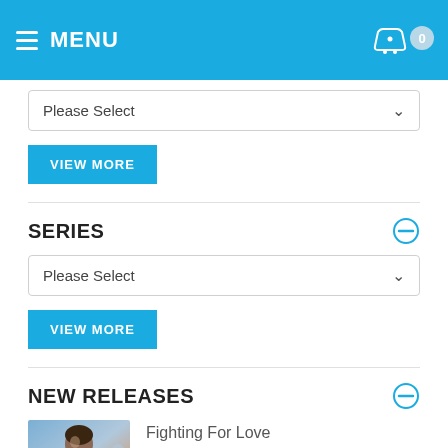MENU
Please Select
VIEW MORE
SERIES
Please Select
VIEW MORE
NEW RELEASES
Fighting For Love
$2.99